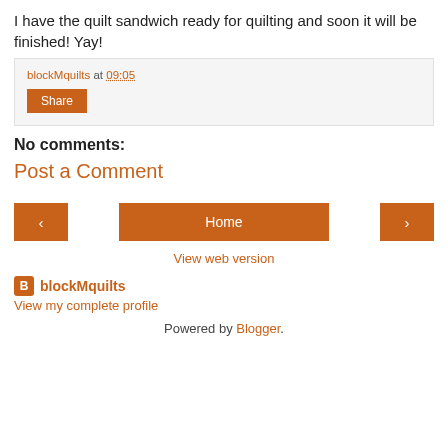I have the quilt sandwich ready for quilting and soon it will be finished! Yay!
blockMquilts at 09:05 Share
No comments:
Post a Comment
< Home > View web version
blockMquilts
View my complete profile
Powered by Blogger.